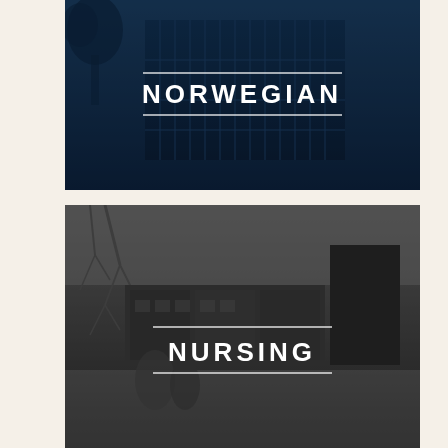[Figure (photo): Dark navy-tinted photo of a modern building with glass facade and trees, overlaid with the word NORWEGIAN in bold white uppercase letters between two horizontal white lines]
NORWEGIAN
[Figure (photo): Dark grey-tinted winter photo of a building exterior with bare trees and snow, overlaid with the word NURSING in bold white uppercase letters between two horizontal white lines]
NURSING